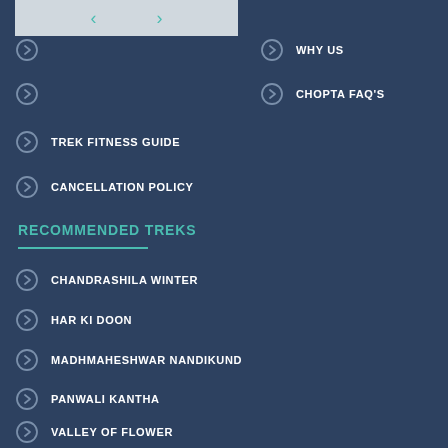[Figure (other): Image carousel with left and right arrow navigation, grey background placeholder]
WHY US
CHOPTA FAQ'S
TREK FITNESS GUIDE
CANCELLATION POLICY
RECOMMENDED TREKS
CHANDRASHILA WINTER
HAR KI DOON
MADHMAHESHWAR NANDIKUND
PANWALI KANTHA
VALLEY OF FLOWER